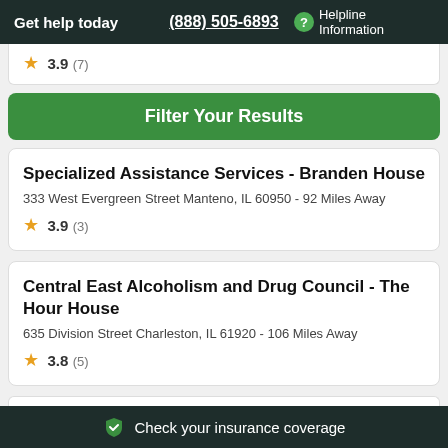Get help today | (888) 505-6893 | Helpline Information
3.9 (7)
Filter Your Results
Specialized Assistance Services - Branden House
333 West Evergreen Street Manteno, IL 60950 - 92 Miles Away
3.9 (3)
Central East Alcoholism and Drug Council - The Hour House
635 Division Street Charleston, IL 61920 - 106 Miles Away
3.8 (5)
Center for Alcohol and Drug Services, Inc. - Country
Check your insurance coverage